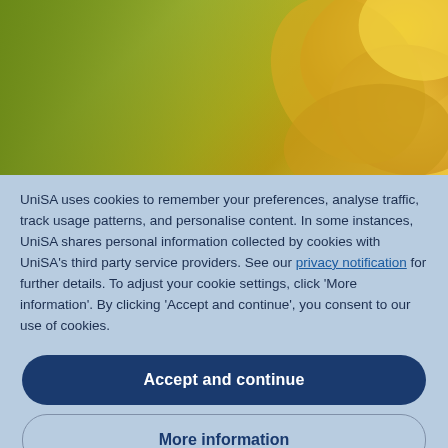[Figure (illustration): Green and yellow gradient banner with a rose/flower petal image in the top-right corner]
myUniSA
UniSA uses cookies to remember your preferences, analyse traffic, track usage patterns, and personalise content. In some instances, UniSA shares personal information collected by cookies with UniSA's third party service providers. See our privacy notification for further details. To adjust your cookie settings, click 'More information'. By clicking 'Accept and continue', you consent to our use of cookies.
Accept and continue
More information